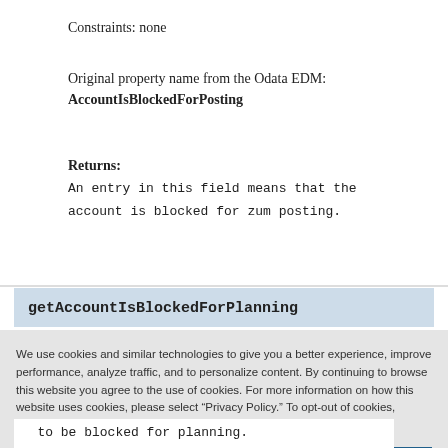Constraints: none
Original property name from the Odata EDM: AccountIsBlockedForPosting
Returns:
An entry in this field means that the account is blocked for zum posting.
getAccountIsBlockedForPlanning
We use cookies and similar technologies to give you a better experience, improve performance, analyze traffic, and to personalize content. By continuing to browse this website you agree to the use of cookies. For more information on how this website uses cookies, please select "Privacy Policy." To opt-out of cookies, please select "More Information."
Accept Cookies
More Information
Privacy Policy | Powered by: TrustArc
to be blocked for planning.